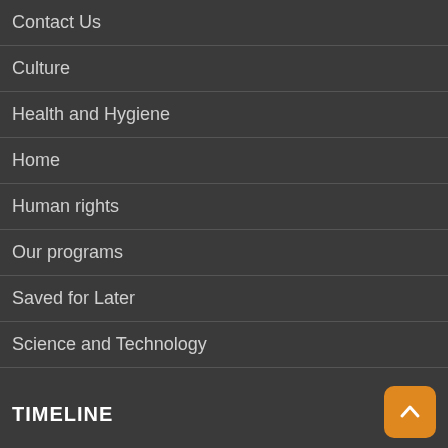Contact Us
Culture
Health and Hygiene
Home
Human rights
Our programs
Saved for Later
Science and Technology
Social and Political
test vote page
Timeline
Video and Audio
Yop Poll Archive
TIMELINE